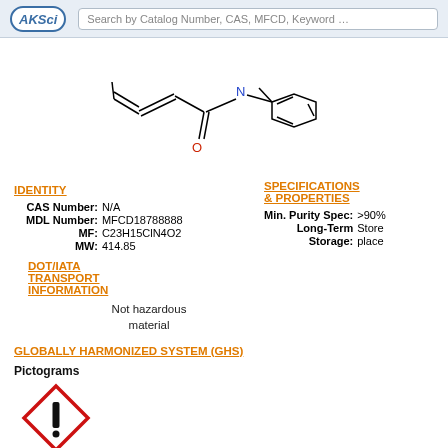AKSci — Search by Catalog Number, CAS, MFCD, Keyword …
[Figure (illustration): Chemical structure diagram of an organic molecule featuring a vinyl group, amide linkage (C=O in red), nitrogen atom (in blue) connected to a methylbenzene ring system.]
IDENTITY
| CAS Number: | N/A |
| MDL Number: | MFCD18788888 |
| MF: | C23H15ClN4O2 |
| MW: | 414.85 |
SPECIFICATIONS & PROPERTIES
| Min. Purity Spec: | >90% |
| Long-Term Storage: | Store place |
DOT/IATA TRANSPORT INFORMATION
Not hazardous material
GLOBALLY HARMONIZED SYSTEM (GHS)
Pictograms
[Figure (illustration): GHS exclamation mark pictogram — red diamond border with black exclamation mark inside.]